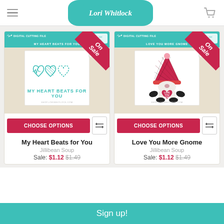Lori Whitlock
[Figure (photo): Product card for 'My Heart Beats for You' digital cutting file showing teal outline hearts and text, with On Sale ribbon, sold by Jillibean Soup]
[Figure (photo): Product card for 'Love You More Gnome' digital cutting file showing plaid-hat gnome holding red heart, with On Sale ribbon, sold by Jillibean Soup]
CHOOSE OPTIONS
CHOOSE OPTIONS
My Heart Beats for You
Love You More Gnome
Jillibean Soup
Jillibean Soup
Sale: $1.12  $1.49
Sale: $1.12  $1.49
Sign up!